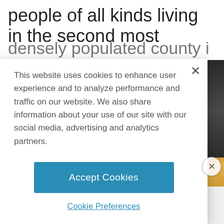people of all kinds living in the second most densely populated county in the state, after San
[Figure (screenshot): Cookie consent modal dialog overlay on a webpage. The modal contains a cookie policy message, an 'Accept Cookies' button in blue, and a 'Cookie Preferences' link. Behind the modal is partial webpage content showing a large heading and a photograph of a drink.]
This website uses cookies to enhance user experience and to analyze performance and traffic on our website. We also share information about your use of our site with our social media, advertising and analytics partners.
Accept Cookies
Cookie Preferences
ADVERTISEMENT